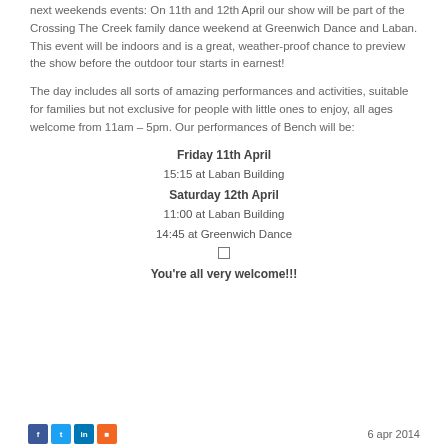next weekends events: On 11th and 12th April our show will be part of the Crossing The Creek family dance weekend at Greenwich Dance and Laban. This event will be indoors and is a great, weather-proof chance to preview the show before the outdoor tour starts in earnest!
The day includes all sorts of amazing performances and activities, suitable for families but not exclusive for people with little ones to enjoy, all ages welcome from 11am – 5pm. Our performances of Bench will be:
Friday 11th April
15:15 at Laban Building
Saturday 12th April
11:00 at Laban Building
14:45 at Greenwich Dance
☐
You're all very welcome!!!
6 apr 2014